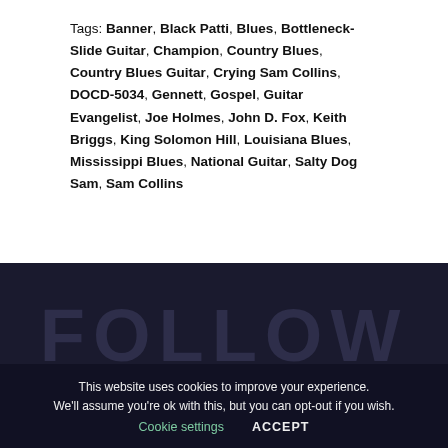Tags: Banner, Black Patti, Blues, Bottleneck-Slide Guitar, Champion, Country Blues, Country Blues Guitar, Crying Sam Collins, DOCD-5034, Gennett, Gospel, Guitar Evangelist, Joe Holmes, John D. Fox, Keith Briggs, King Solomon Hill, Louisiana Blues, Mississippi Blues, National Guitar, Salty Dog Sam, Sam Collins
[Figure (other): Dark navy/dark blue background section with large watermark text FOLLOW in a slightly lighter dark shade]
This website uses cookies to improve your experience. We'll assume you're ok with this, but you can opt-out if you wish. Cookie settings ACCEPT